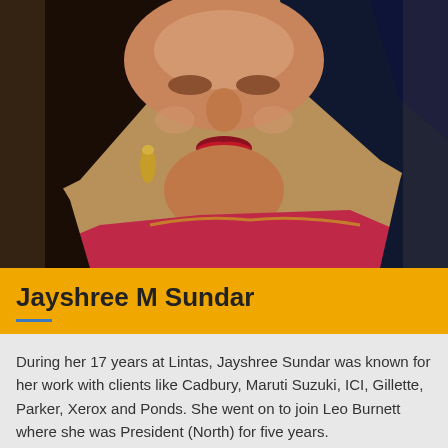[Figure (photo): Close-up portrait photo of Jayshree M Sundar, a woman with long dark hair, wearing red lipstick, gold earrings, a gold necklace, and a red and gold traditional Indian outfit (saree/salwar).]
Jayshree M Sundar
During her 17 years at Lintas, Jayshree Sundar was known for her work with clients like Cadbury, Maruti Suzuki, ICI, Gillette, Parker, Xerox and Ponds. She went on to join Leo Burnett where she was President (North) for five years.
Read More